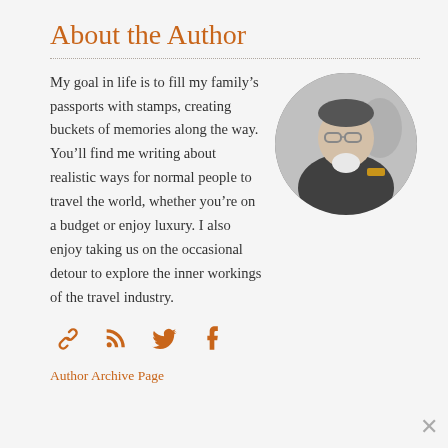About the Author
My goal in life is to fill my family’s passports with stamps, creating buckets of memories along the way. You’ll find me writing about realistic ways for normal people to travel the world, whether you’re on a budget or enjoy luxury. I also enjoy taking us on the occasional detour to explore the inner workings of the travel industry.
[Figure (photo): Circular black-and-white portrait photo of the author, a middle-aged man wearing glasses, with another person partially visible behind him. He is wearing a dark jacket.]
[Figure (infographic): Four social media icons in orange: a chain-link icon, an RSS feed icon, a Twitter bird icon, and a Facebook f icon.]
Author Archive Page